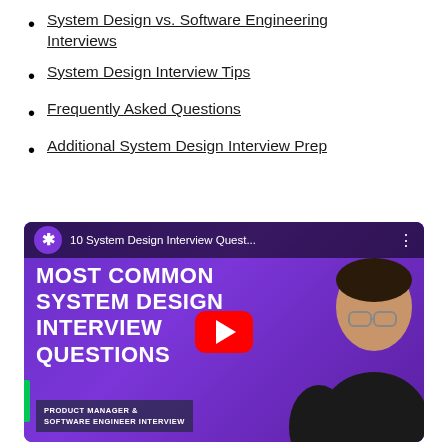System Design vs. Software Engineering Interviews
System Design Interview Tips
Frequently Asked Questions
Additional System Design Interview Prep
[Figure (screenshot): YouTube video thumbnail showing '10 System Design Interview Quest...' with text overlay 'MOST COMMON SYSTEM DESIGN INTERVIEW QUESTIONS' on a purple background with a person on the right side. A red YouTube play button is visible in the center. Bottom label reads 'PRODUCT MANAGER & SOFTWARE ENGINEER INTERVIEW'.]